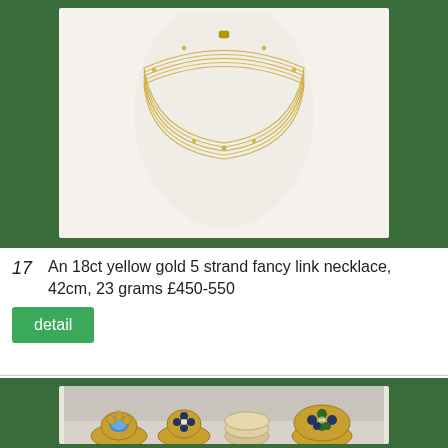[Figure (photo): Photo of an 18ct yellow gold 5 strand fancy link necklace displayed on a white bust/mannequin form, against a light background. The necklace shows multiple fine gold strands with small beaded stations.]
17  An 18ct yellow gold 5 strand fancy link necklace, 42cm, 23 grams £450-550
detail
[Figure (photo): Photo of four antique/vintage gold rings displayed side by side: a blue opal flower ring, a dark sapphire and diamond cluster ring, a plain band, and a blue/green cluster ring.]